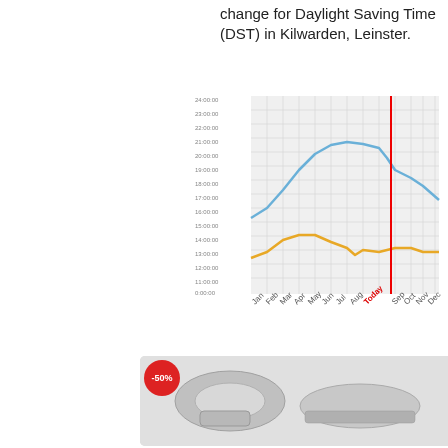change for Daylight Saving Time (DST) in Kilwarden, Leinster.
[Figure (continuous-plot): Line chart showing sunrise (orange) and sunset (blue) times throughout the year in Kilwarden, Leinster. Y-axis shows times from 0:00:00 to 24:00:00. X-axis shows months Jan through Dec. A vertical red line marks 'Today' between Aug and Sep.]
[Figure (photo): Advertisement showing metal hardware items (clamps/rings) with a -50% discount badge and ad icons.]